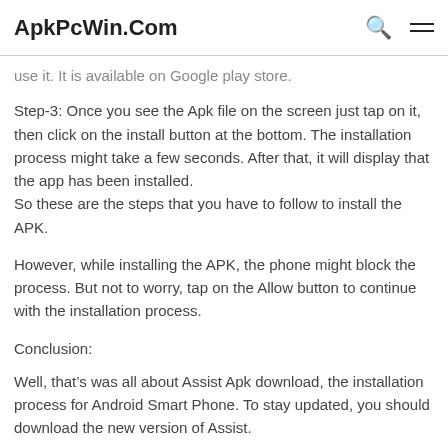ApkPcWin.Com
use it. It is available on Google play store.
Step-3: Once you see the Apk file on the screen just tap on it, then click on the install button at the bottom. The installation process might take a few seconds. After that, it will display that the app has been installed.
So these are the steps that you have to follow to install the APK.
However, while installing the APK, the phone might block the process. But not to worry, tap on the Allow button to continue with the installation process.
Conclusion:
Well, that’s was all about Assist Apk download, the installation process for Android Smart Phone. To stay updated, you should download the new version of Assist.
We have inserted the official Download Link For everyone. And everyone can download this app for free. If you have any questions, so feel free to comment below. We will reply to you